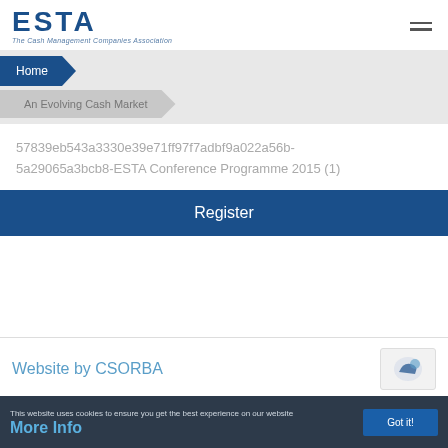[Figure (logo): ESTA logo with text 'The Cash Management Companies Association']
Home
An Evolving Cash Market
57839eb543a3330e39e71ff97f7adbf9a022a56b-5a29065a3bcb8-ESTA Conference Programme 2015 (1)
Register
Website by CSORBA
This website uses cookies to ensure you get the best experience on our website More Info
Got it!